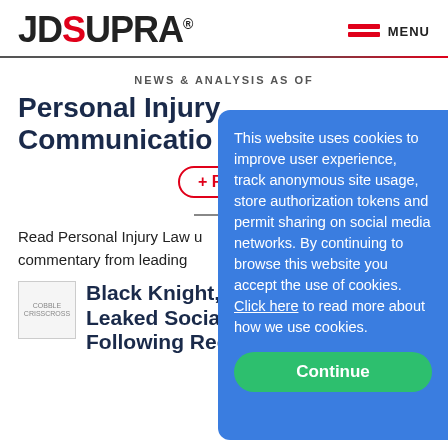[Figure (logo): JD Supra logo with red S and registered trademark symbol]
MENU
NEWS & ANALYSIS AS OF...
Personal Injury Communications
+ Follow
Read Personal Injury Law updates and commentary from leading...
[Figure (logo): Cobble or similar company thumbnail logo]
Black Knight, Inc. Leaked Social Se... Following Recent Data Breach
This website uses cookies to improve user experience, track anonymous site usage, store authorization tokens and permit sharing on social media networks. By continuing to browse this website you accept the use of cookies. Click here to read more about how we use cookies.
Continue